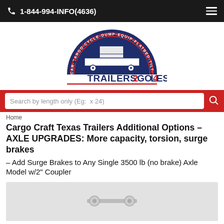1-844-994-INFO(4636)
[Figure (logo): Trailers2Go4Less logo with trailer illustration and circular text reading CAR-CARGO-CYCLE-DUMP-EQUIP-FLATBED-TILT-UTILITY]
Search by length only (Eg:  x 24)
Home
Cargo Craft Texas Trailers Additional Options – AXLE UPGRADES: More capacity, torsion, surge brakes
– Add Surge Brakes to Any Single 3500 lb (no brake) Axle Model w/2" Coupler
[Figure (photo): Product image showing trailer axle component on light gray background]